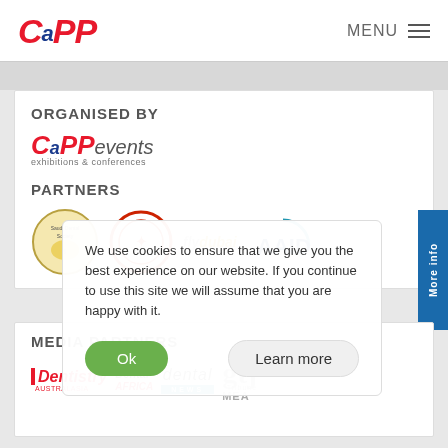CAPP | MENU
ORGANISED BY
[Figure (logo): CAPP events exhibitions & conferences logo]
PARTNERS
[Figure (logo): Partner logos: Saudi Dental Society, red circular logo, flydubai, AAID]
MEDIA PARTNERS
[Figure (logo): Media partner logos: Dentistry Australasia, Dental Africa, Dental News, GTJ Tribune MEA]
We use cookies to ensure that we give you the best experience on our website. If you continue to use this site we will assume that you are happy with it.